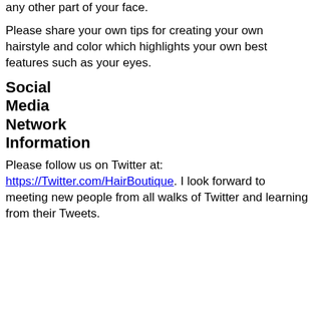any other part of your face.
Please share your own tips for creating your own hairstyle and color which highlights your own best features such as your eyes.
Social Media Network Information
Please follow us on Twitter at: https://Twitter.com/HairBoutique. I look forward to meeting new people from all walks of Twitter and learning from their Tweets.